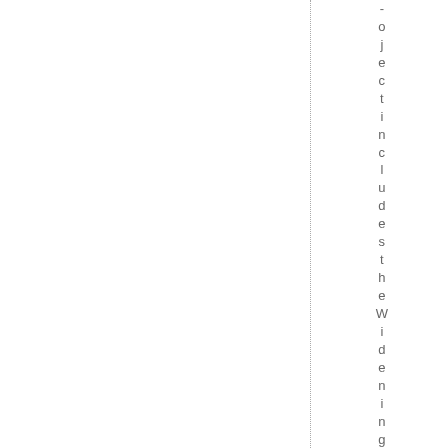-ojectincludestheWideningoftheO